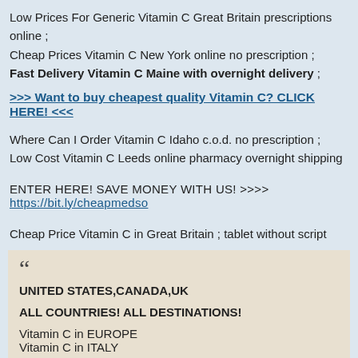Low Prices For Generic Vitamin C Great Britain prescriptions online ; Cheap Prices Vitamin C New York online no prescription ; Fast Delivery Vitamin C Maine with overnight delivery ;
>>> Want to buy cheapest quality Vitamin C? CLICK HERE! <<<
Where Can I Order Vitamin C Idaho c.o.d. no prescription ; Low Cost Vitamin C Leeds online pharmacy overnight shipping
ENTER HERE! SAVE MONEY WITH US! >>>> https://bit.ly/cheapmedso
Cheap Price Vitamin C in Great Britain ; tablet without script
“
UNITED STATES,CANADA,UK

ALL COUNTRIES! ALL DESTINATIONS!

Vitamin C in EUROPE
Vitamin C in ITALY